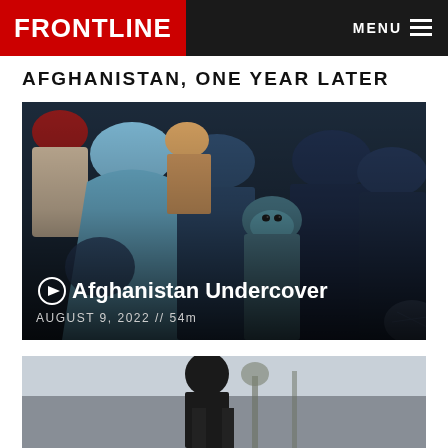FRONTLINE   MENU
AFGHANISTAN, ONE YEAR LATER
[Figure (photo): Crowd of women in blue and dark burqas, one woman in center looking at camera with teal face covering. Photo overlay shows play button icon, title 'Afghanistan Undercover', date 'AUGUST 9, 2022 // 54m']
[Figure (photo): Partial second photo card at bottom, dark toned image of a person]